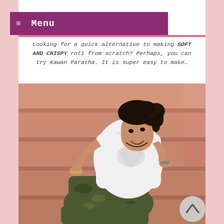≡ Menu
Looking for a quick alternative to making SOFT AND CRISPY roti from scratch? Perhaps, you can try Kawan Paratha. It is super easy to make…
[Figure (photo): A young man with curly hair, smiling, wearing a white graphic t-shirt and camouflage pants, sitting on terracotta-colored stairs in a relaxed pose.]